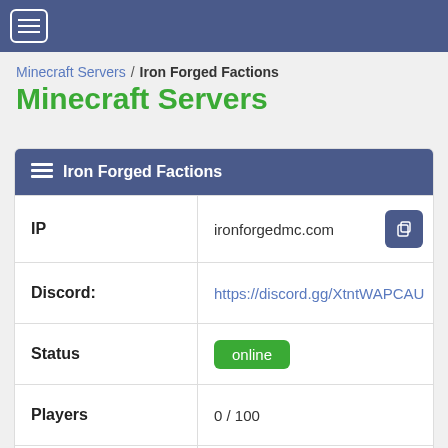≡
Minecraft Servers / Iron Forged Factions
Minecraft Servers
| Field | Value |
| --- | --- |
| IP | ironforgedmc.com |
| Discord: | https://discord.gg/XtntWAPCAU |
| Status | online |
| Players | 0 / 100 |
| Version | 1.17.1 |